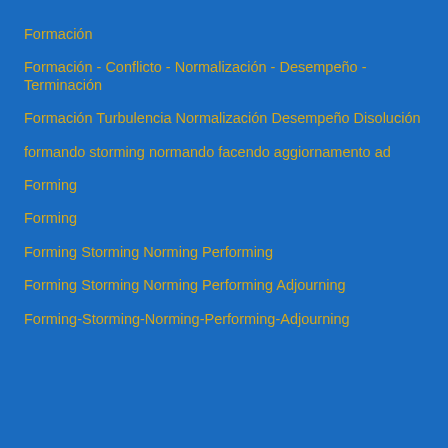Formación
Formación - Conflicto - Normalización - Desempeño - Terminación
Formación Turbulencia Normalización Desempeño Disolución
formando storming normando facendo aggiornamento ad
Forming
Forming
Forming Storming Norming Performing
Forming Storming Norming Performing Adjourning
Forming-Storming-Norming-Performing-Adjourning